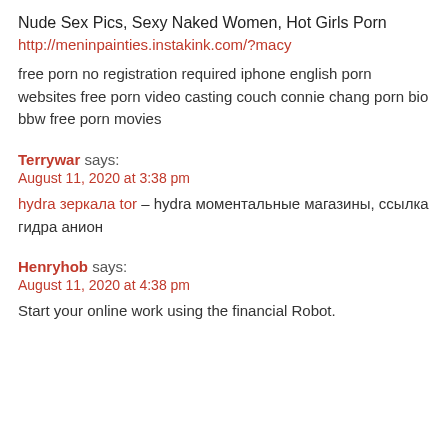Nude Sex Pics, Sexy Naked Women, Hot Girls Porn
http://meninpainties.instakink.com/?macy
free porn no registration required iphone english porn websites free porn video casting couch connie chang porn bio bbw free porn movies
Terrywar says:
August 11, 2020 at 3:38 pm
hydra зеркала tor – hydra моментальные магазины, ссылка гидра анион
Henryhob says:
August 11, 2020 at 4:38 pm
Start your online work using the financial Robot.